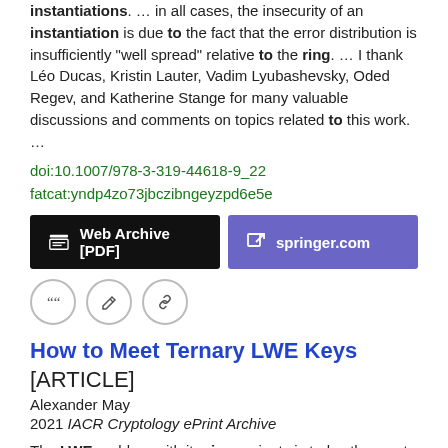instantiations. … in all cases, the insecurity of an instantiation is due to the fact that the error distribution is insufficiently "well spread" relative to the ring. … I thank Léo Ducas, Kristin Lauter, Vadim Lyubashevsky, Oded Regev, and Katherine Stange for many valuable discussions and comments on topics related to this work. …
doi:10.1007/978-3-319-44618-9_22
fatcat:yndp4zo73jbczibngeyzpd6e5e
[Figure (other): Two buttons: 'Web Archive [PDF]' in black and 'springer.com' in purple]
[Figure (other): Three circular icon buttons: quote, edit, and link]
How to Meet Ternary LWE Keys [ARTICLE]
Alexander May
2021 IACR Cryptology ePrint Archive
The LWE problem with its ring variants is today the most prominent candidate for building efficient public key cryptosystems resistant to quantum computers. … As opposed to other combinatorial attacks, our attack benefits from larger LWE field sizes q, as they are often used in modern lattice-based signatures. …
Acknowledgements: The author wants to thank Elena Kirshanova,